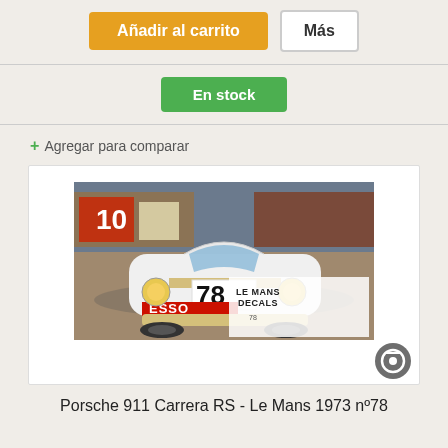Añadir al carrito
Más
En stock
+ Agregar para comparar
[Figure (photo): Porsche 911 Carrera RS race car number 78 with ESSO livery at Le Mans 1973, shown from front view on track, with Le Mans Decals watermark overlay]
Porsche 911 Carrera RS - Le Mans 1973 nº78